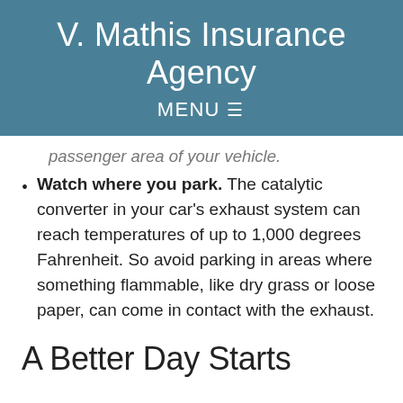V. Mathis Insurance Agency
MENU ☰
passenger area of your vehicle.
Watch where you park. The catalytic converter in your car's exhaust system can reach temperatures of up to 1,000 degrees Fahrenheit. So avoid parking in areas where something flammable, like dry grass or loose paper, can come in contact with the exhaust.
A Better Day Starts